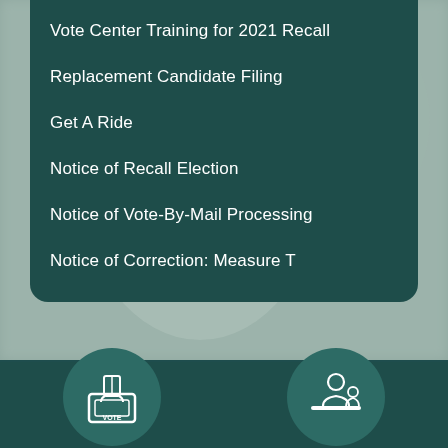Vote Center Training for 2021 Recall
Replacement Candidate Filing
Get A Ride
Notice of Recall Election
Notice of Vote-By-Mail Processing
Notice of Correction: Measure T
[Figure (illustration): Two circular icons on dark teal background: left icon shows a ballot box with hand inserting ballot (labeled VOTE), right icon shows a person at a desk/counter.]